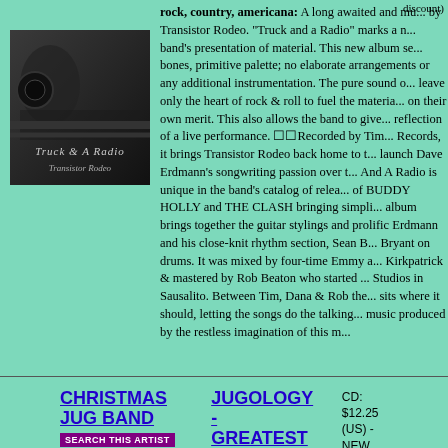discount)
[Figure (photo): Album cover for 'Truck & A Radio' by Transistor Rodeo, dark image with vehicle interior, white cursive text]
rock, country, americana: A long awaited and much... by Transistor Rodeo. "Truck and a Radio" marks a new band's presentation of material. This new album sets bones, primitive palette; no elaborate arrangements or any additional instrumentation. The pure sound c... leave only the heart of rock & roll to fuel the materia... on their own merit. This also allows the band to give reflection of a live performance. ☐☐Recorded by Tim... Records, it brings Transistor Rodeo back home to t... launch Dave Erdmann's songwriting passion over tu... And A Radio is unique in the band's catalog of relea... of BUDDY HOLLY and THE CLASH bringing simpli... album brings together the guitar stylings and prolific Erdmann and his close-knit rhythm section, Sean B... Bryant on drums. It was mixed by four-time Emmy a... Kirkpatrick & mastered by Rob Beaton who started ... Studios in Sausalito. Between Tim, Dana & Rob the... sits where it should, letting the songs do the talking... music produced by the restless imagination of this n...
CHRISTMAS JUG BAND
SEARCH THIS ARTIST
JUGOLOGY - GREATEST NEAR MISSES (BEST OF...)
$ BUY! $
CD: $12.25 (US) - NEW ($11.03 with *discount)